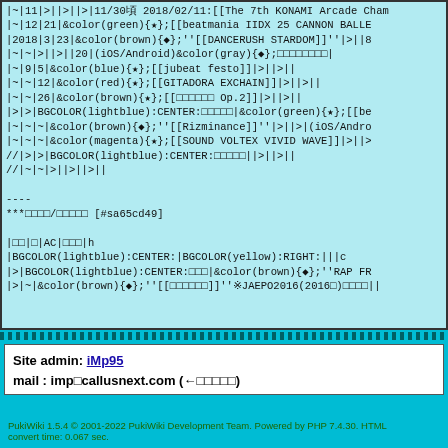Wiki markup source code block showing table syntax with KONAMI arcade game entries including beatmania IIDX 25 CANNON BALL, DANCERUSH STARDOM, jubeat festo, GITADORA EXCHAIN, SOUND VOLTEX VIVID WAVE, Rizminance, and table formatting codes with BGCOLOR, color, and CENTER directives
----
***□□□□/□□□□□ [#sa65cd49]
|□□|□|AC|□□□|h
|BGCOLOR(lightblue):CENTER:|BGCOLOR(yellow):RIGHT:|||c
|>|BGCOLOR(lightblue):CENTER:□□□|&color(brown){◆};''RAP FR
|>|~|&color(brown){◆};''[[□□□□□□]]''※JAEPO2016(2016□)□□□□||
Site admin: iMp95
mail : imp□callusnext.com (←□□□□□)
PukiWiki 1.5.4 © 2001-2022 PukiWiki Development Team. Powered by PHP 7.4.30. HTML convert time: 0.067 sec.